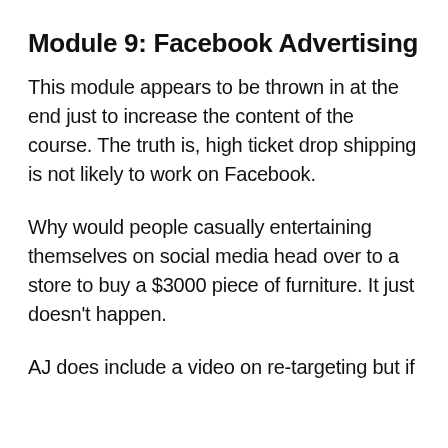Module 9: Facebook Advertising
This module appears to be thrown in at the end just to increase the content of the course. The truth is, high ticket drop shipping is not likely to work on Facebook.
Why would people casually entertaining themselves on social media head over to a store to buy a $3000 piece of furniture. It just doesn’t happen.
AJ does include a video on re-targeting but if